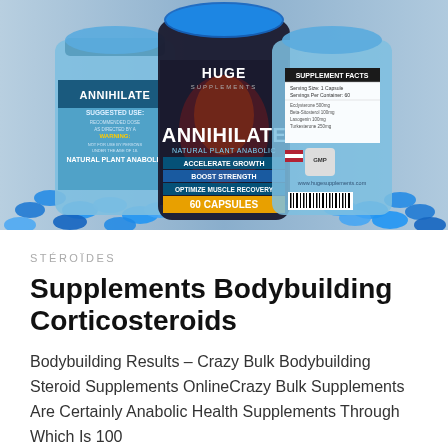[Figure (photo): Three bottles of Annihilate by Huge Supplements supplement shown from different angles. The bottles are filled with blue capsules. Center bottle shows front label with 'HUGE SUPPLEMENTS', 'ANNIHILATE', 'NATURAL PLANT ANABOLIC', 'ACCELERATE GROWTH', 'BOOST STRENGTH', 'OPTIMIZE MUSCLE RECOVERY', '60 CAPSULES'. Left bottle shows back label with 'ANNIHILATE', 'SUGGESTED USE', 'WARNING', 'NATURAL PLANT ANABOLIC'. Right bottle shows 'SUPPLEMENT FACTS' panel, GMP logo, and 'www.hugesupplements.com'.]
STÉROÏDES
Supplements Bodybuilding Corticosteroids
Bodybuilding Results – Crazy Bulk Bodybuilding Steroid Supplements OnlineCrazy Bulk Supplements Are Certainly Anabolic Health Supplements Through Which Is 100